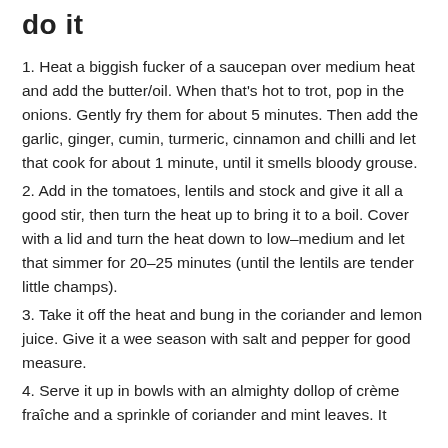do it
1. Heat a biggish fucker of a saucepan over medium heat and add the butter/oil. When that's hot to trot, pop in the onions. Gently fry them for about 5 minutes. Then add the garlic, ginger, cumin, turmeric, cinnamon and chilli and let that cook for about 1 minute, until it smells bloody grouse.
2. Add in the tomatoes, lentils and stock and give it all a good stir, then turn the heat up to bring it to a boil. Cover with a lid and turn the heat down to low–medium and let that simmer for 20–25 minutes (until the lentils are tender little champs).
3. Take it off the heat and bung in the coriander and lemon juice. Give it a wee season with salt and pepper for good measure.
4. Serve it up in bowls with an almighty dollop of crème fraîche and a sprinkle of coriander and mint leaves. It